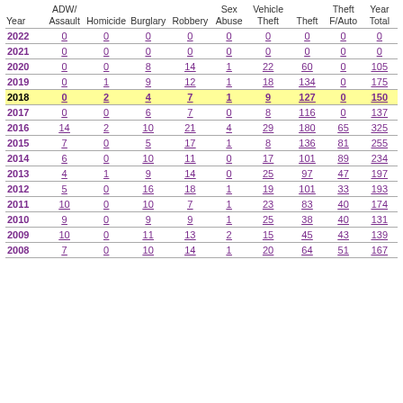| Year | ADW/Assault | Homicide | Burglary | Robbery | Sex Abuse | Vehicle Theft | Theft | Theft F/Auto | Year Total |
| --- | --- | --- | --- | --- | --- | --- | --- | --- | --- |
| 2022 | 0 | 0 | 0 | 0 | 0 | 0 | 0 | 0 | 0 |
| 2021 | 0 | 0 | 0 | 0 | 0 | 0 | 0 | 0 | 0 |
| 2020 | 0 | 0 | 8 | 14 | 1 | 22 | 60 | 0 | 105 |
| 2019 | 0 | 1 | 9 | 12 | 1 | 18 | 134 | 0 | 175 |
| 2018 | 0 | 2 | 4 | 7 | 1 | 9 | 127 | 0 | 150 |
| 2017 | 0 | 0 | 6 | 7 | 0 | 8 | 116 | 0 | 137 |
| 2016 | 14 | 2 | 10 | 21 | 4 | 29 | 180 | 65 | 325 |
| 2015 | 7 | 0 | 5 | 17 | 1 | 8 | 136 | 81 | 255 |
| 2014 | 6 | 0 | 10 | 11 | 0 | 17 | 101 | 89 | 234 |
| 2013 | 4 | 1 | 9 | 14 | 0 | 25 | 97 | 47 | 197 |
| 2012 | 5 | 0 | 16 | 18 | 1 | 19 | 101 | 33 | 193 |
| 2011 | 10 | 0 | 10 | 7 | 1 | 23 | 83 | 40 | 174 |
| 2010 | 9 | 0 | 9 | 9 | 1 | 25 | 38 | 40 | 131 |
| 2009 | 10 | 0 | 11 | 13 | 2 | 15 | 45 | 43 | 139 |
| 2008 | 7 | 0 | 10 | 14 | 1 | 20 | 64 | 51 | 167 |